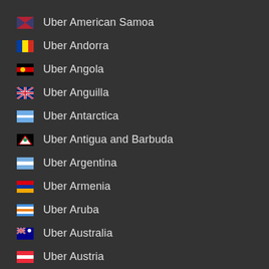Uber American Samoa
Uber Andorra
Uber Angola
Uber Anguilla
Uber Antarctica
Uber Antigua and Barbuda
Uber Argentina
Uber Armenia
Uber Aruba
Uber Australia
Uber Austria